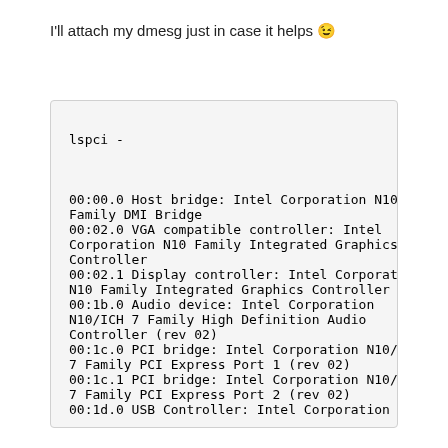I'll attach my dmesg just in case it helps 😜
lspci -


00:00.0 Host bridge: Intel Corporation N10 Family DMI Bridge
00:02.0 VGA compatible controller: Intel Corporation N10 Family Integrated Graphics Controller
00:02.1 Display controller: Intel Corporation N10 Family Integrated Graphics Controller
00:1b.0 Audio device: Intel Corporation N10/ICH 7 Family High Definition Audio Controller (rev 02)
00:1c.0 PCI bridge: Intel Corporation N10/ICH 7 Family PCI Express Port 1 (rev 02)
00:1c.1 PCI bridge: Intel Corporation N10/ICH 7 Family PCI Express Port 2 (rev 02)
00:1d.0 USB Controller: Intel Corporation